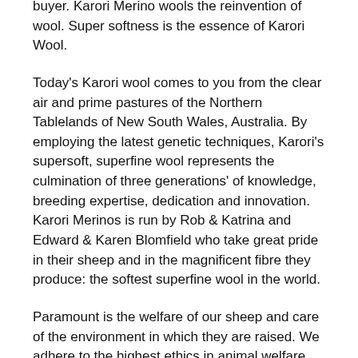buyer. Karori Merino wools the reinvention of wool. Super softness is the essence of Karori Wool.
Today's Karori wool comes to you from the clear air and prime pastures of the Northern Tablelands of New South Wales, Australia. By employing the latest genetic techniques, Karori's supersoft, superfine wool represents the culmination of three generations' of knowledge, breeding expertise, dedication and innovation. Karori Merinos is run by Rob & Katrina and Edward & Karen Blomfield who take great pride in their sheep and in the magnificent fibre they produce: the softest superfine wool in the world.
Paramount is the welfare of our sheep and care of the environment in which they are raised. We adhere to the highest ethics in animal welfare. Karori Merinos are not mulesed and we try and minimise